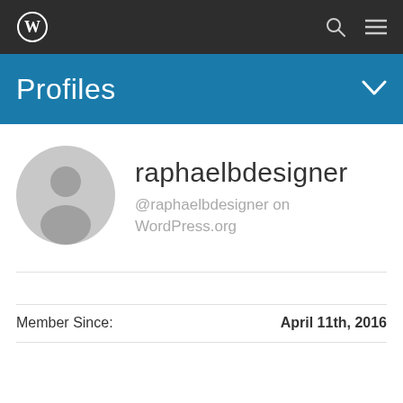[Figure (logo): WordPress logo in top navigation bar, white W in circle on dark background]
Profiles
[Figure (illustration): Generic grey user avatar silhouette icon]
raphaelbdesigner
@raphaelbdesigner on WordPress.org
Member Since:    April 11th, 2016